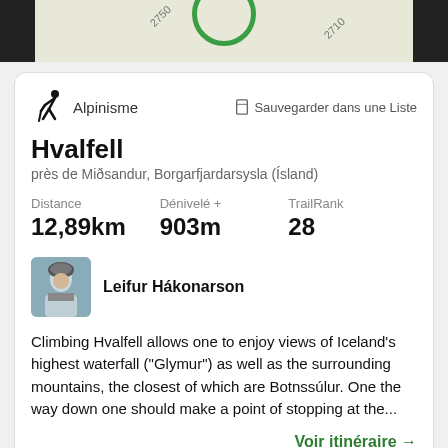[Figure (screenshot): Top map strip showing topographic map with contour labels 2750 and 2710, a green circle marker, and dark side bars]
Alpinisme
Sauvegarder dans une Liste
Hvalfell
près de Miðsandur, Borgarfjardarsysla (Ísland)
Distance
12,89km
Dénivelé +
903m
TrailRank
28
[Figure (photo): Profile photo of Leifur Hákonarson, a person in winter clothing]
Leifur Hákonarson
Climbing Hvalfell allows one to enjoy views of Iceland's highest waterfall ("Glymur") as well as the surrounding mountains, the closest of which are Botnssúlur. One the way down one should make a point of stopping at the...
Voir itinéraire →